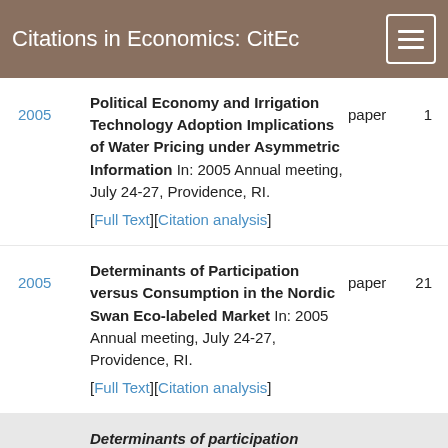Citations in Economics: CitEc
2005 | Political Economy and Irrigation Technology Adoption Implications of Water Pricing under Asymmetric Information In: 2005 Annual meeting, July 24-27, Providence, RI. [Full Text][Citation analysis] | paper | 1
2005 | Determinants of Participation versus Consumption in the Nordic Swan Eco-labeled Market In: 2005 Annual meeting, July 24-27, Providence, RI. [Full Text][Citation analysis] | paper | 21
Determinants of participation versus consumption in the Nordic Swan eco-labeled market.